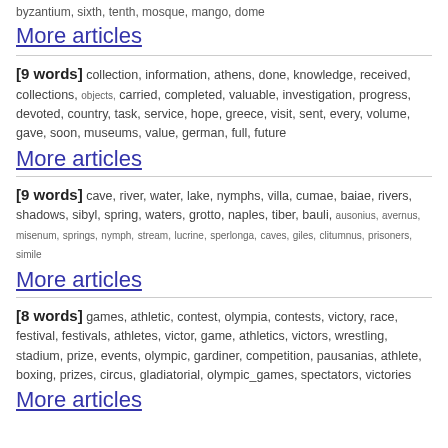byzantium, sixth, tenth, mosque, mango, dome
More articles
[9 words] collection, information, athens, done, knowledge, received, collections, objects, carried, completed, valuable, investigation, progress, devoted, country, task, service, hope, greece, visit, sent, every, volume, gave, soon, museums, value, german, full, future
More articles
[9 words] cave, river, water, lake, nymphs, villa, cumae, baiae, rivers, shadows, sibyl, spring, waters, grotto, naples, tiber, bauli, ausonius, avernus, misenum, springs, nymph, stream, lucrine, sperlonga, caves, giles, clitumnus, prisoners, simile
More articles
[8 words] games, athletic, contest, olympia, contests, victory, race, festival, festivals, athletes, victor, game, athletics, victors, wrestling, stadium, prize, events, olympic, gardiner, competition, pausanias, athlete, boxing, prizes, circus, gladiatorial, olympic_games, spectators, victories
More articles